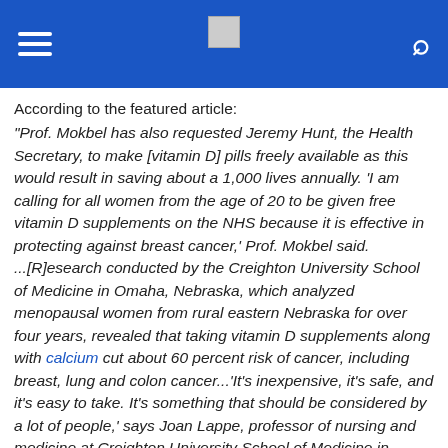[Navigation header with hamburger menu, logo, and search icon on blue background]
According to the featured article:
"Prof. Mokbel has also requested Jeremy Hunt, the Health Secretary, to make [vitamin D] pills freely available as this would result in saving about a 1,000 lives annually. ‘I am calling for all women from the age of 20 to be given free vitamin D supplements on the NHS because it is effective in protecting against breast cancer,’ Prof. Mokbel said. ...[R]esearch conducted by the Creighton University School of Medicine in Omaha, Nebraska, which analyzed menopausal women from rural eastern Nebraska for over four years, revealed that taking vitamin D supplements along with calcium cut about 60 percent risk of cancer, including breast, lung and colon cancer...‘It’s inexpensive, it’s safe, and it’s easy to take. It’s something that should be considered by a lot of people,’ says Joan Lappe, professor of nursing and medicine at Creighton University School of Medicine in Omaha, Nebraska. ‘It’s low-